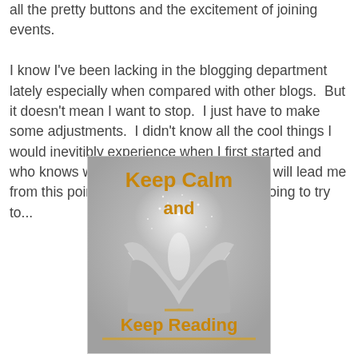all the pretty buttons and the excitement of joining events.

I know I've been lacking in the blogging department lately especially when compared with other blogs.  But it doesn't mean I want to stop.  I just have to make some adjustments.  I didn't know all the cool things I would inevitibly experience when I first started and who knows where my blogging endeavors will lead me from this point on, but I do know that I'm going to try to...
[Figure (illustration): Keep Calm and Keep Reading image — a stylized open book with pages fanning out and sparkling light, text 'Keep Calm and' at the top and 'Keep Reading' at the bottom in golden/amber color, on a gray gradient background.]